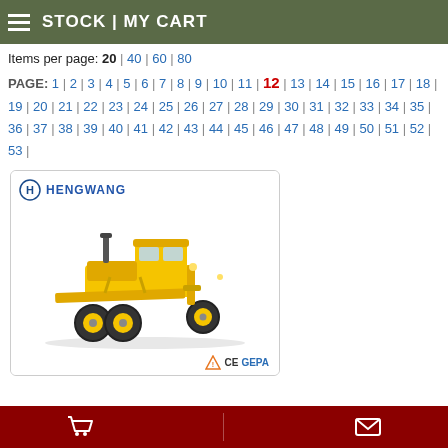STOCK | MY CART
Items per page: 20 | 40 | 60 | 80
PAGE: 1 | 2 | 3 | 4 | 5 | 6 | 7 | 8 | 9 | 10 | 11 | 12 | 13 | 14 | 15 | 16 | 17 | 18 | 19 | 20 | 21 | 22 | 23 | 24 | 25 | 26 | 27 | 28 | 29 | 30 | 31 | 32 | 33 | 34 | 35 | 36 | 37 | 38 | 39 | 40 | 41 | 42 | 43 | 44 | 45 | 46 | 47 | 48 | 49 | 50 | 51 | 52 | 53
[Figure (photo): Yellow Hengwang motor grader construction machine with CE and GEPA certification logos]
Cart and message icons